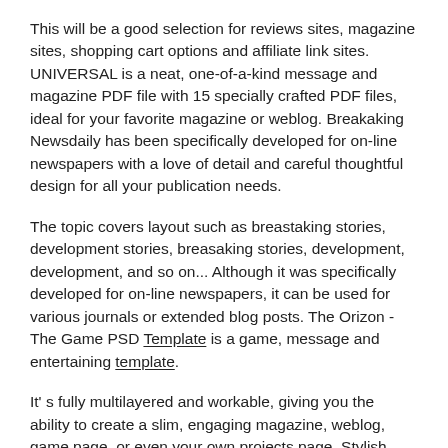This will be a good selection for reviews sites, magazine sites, shopping cart options and affiliate link sites. UNIVERSAL is a neat, one-of-a-kind message and magazine PDF file with 15 specially crafted PDF files, ideal for your favorite magazine or weblog. Breakaking Newsdaily has been specifically developed for on-line newspapers with a love of detail and careful thoughtful design for all your publication needs.
The topic covers layout such as breastaking stories, development stories, breasaking stories, development, development, and so on... Although it was specifically developed for on-line newspapers, it can be used for various journals or extended blog posts. The Orizon - The Game PSD Template is a game, message and entertaining template.
It' s fully multilayered and workable, giving you the ability to create a slim, engaging magazine, weblog, game page, or even your own projects page. Stylish templates for all types of blood logs and trendmagazines.